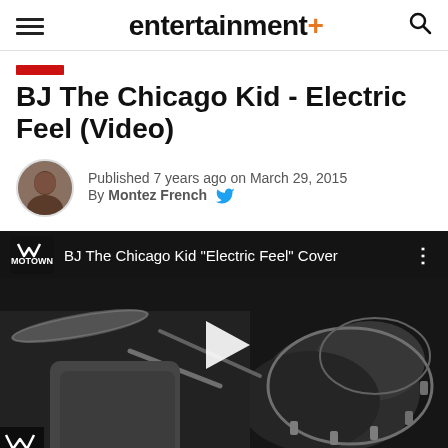entertainment+
BJ The Chicago Kid - Electric Feel (Video)
Published 7 years ago on March 29, 2015
By Montez French
[Figure (screenshot): YouTube video embed showing BJ The Chicago Kid 'Electric Feel' Cover — black and white video still of a drummer playing, with Motown logo in top left, video title in top bar, and a play button in the center]